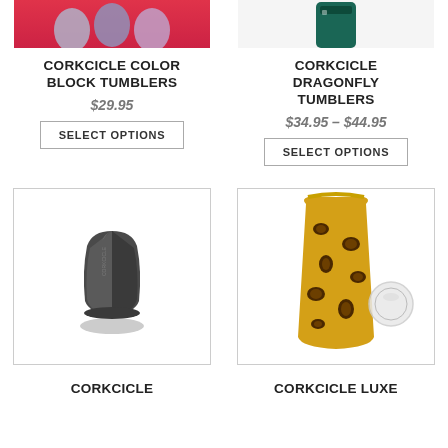[Figure (photo): Partial top image of Corkcicle Color Block Tumblers on red background]
[Figure (photo): Partial top image of Corkcicle Dragonfly Tumblers on white background]
CORKCICLE COLOR BLOCK TUMBLERS
$29.95
SELECT OPTIONS
CORKCICLE DRAGONFLY TUMBLERS
$34.95 – $44.95
SELECT OPTIONS
[Figure (photo): Dark grey/gunmetal Corkcicle stemless wine glass tumbler on white background with border]
[Figure (photo): Leopard print Corkcicle Luxe tumbler with clear lid on white background with border]
CORKCICLE
CORKCICLE LUXE